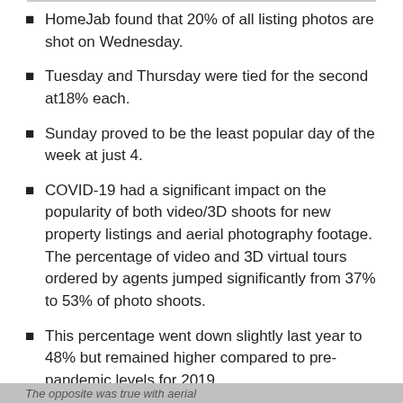HomeJab found that 20% of all listing photos are shot on Wednesday.
Tuesday and Thursday were tied for the second at18% each.
Sunday proved to be the least popular day of the week at just 4.
COVID-19 had a significant impact on the popularity of both video/3D shoots for new property listings and aerial photography footage. The percentage of video and 3D virtual tours ordered by agents jumped significantly from 37% to 53% of photo shoots.
This percentage went down slightly last year to 48% but remained higher compared to pre-pandemic levels for 2019.
The opposite was true with aerial